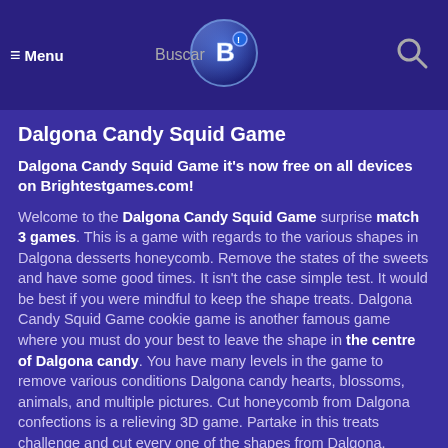≡ Menu   Buscar 🔍
Dalgona Candy Squid Game
Dalgona Candy Squid Game it's now free on all devices on Brightestgames.com!
Welcome to the Dalgona Candy Squid Game surprise match 3 games. This is a game with regards to the various shapes in Dalgona desserts honeycomb. Remove the states of the sweets and have some good times. It isn't the case simple test. It would be best if you were mindful to keep the shape treats. Dalgona Candy Squid Game cookie game is another famous game where you must do your best to leave the shape in the centre of Dalgona candy. You have many levels in the game to remove various conditions Dalgona candy hearts, blossoms, animals, and multiple pictures. Cut honeycomb from Dalgona confections is a relieving 3D game. Partake in this treats challenge and cut every one of the shapes from Dalgona. Dalgona Candy Squid Game to each individual who loves desserts and 3D games with treats challenge. Cut out various shapes from the honeycomb treat and